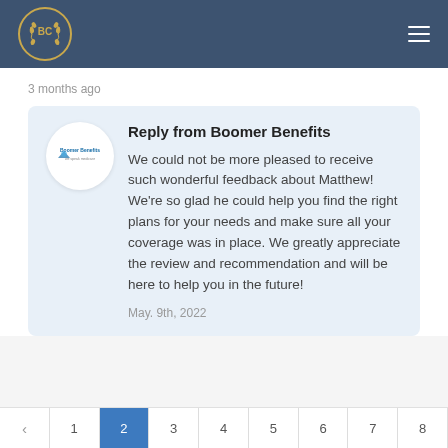BC — Boomer Benefits logo and navigation
3 months ago
Reply from Boomer Benefits
We could not be more pleased to receive such wonderful feedback about Matthew! We're so glad he could help you find the right plans for your needs and make sure all your coverage was in place. We greatly appreciate the review and recommendation and will be here to help you in the future!
May. 9th, 2022